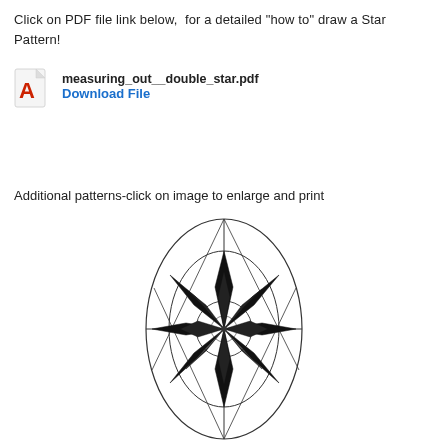Click on PDF file link below, for a detailed "how to" draw a Star Pattern!
[Figure (illustration): PDF file icon (red Adobe Acrobat logo style) with filename 'measuring_out__double_star.pdf' and 'Download File' link in blue]
Additional patterns-click on image to enlarge and print
[Figure (illustration): Star pattern drawing guide showing an oval/ellipse with concentric circles and a double star (8-pointed) pattern drawn inside, with radial grid lines dividing the oval into sections. The star has filled black triangular points alternating in two layers.]